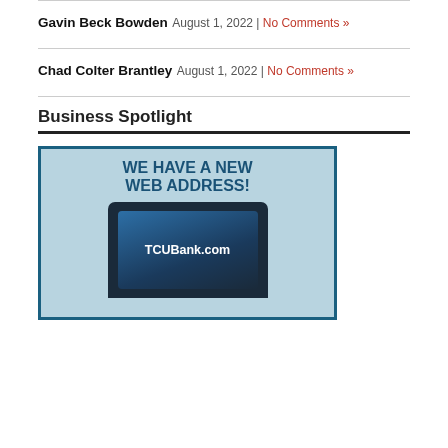Gavin Beck Bowden
August 1, 2022 | No Comments »
Chad Colter Brantley
August 1, 2022 | No Comments »
Business Spotlight
[Figure (photo): Advertisement image for TCUBank.com showing text 'WE HAVE A NEW WEB ADDRESS!' above a laptop displaying 'TCUBank.com' on its screen, with a light blue background and dark teal border.]